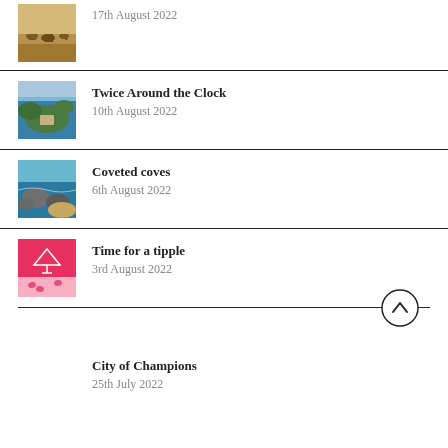17th August 2022
Twice Around the Clock
10th August 2022
Coveted coves
6th August 2022
Time for a tipple
3rd August 2022
City of Champions
25th July 2022